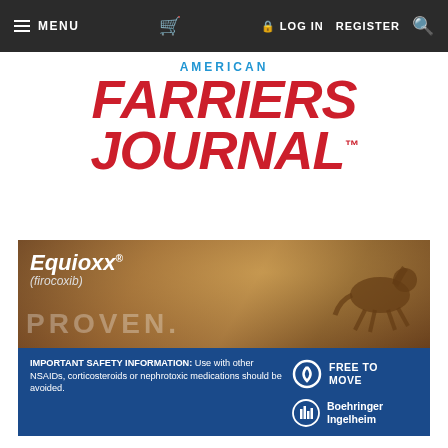MENU  [cart]  LOG IN  REGISTER  [search]
AMERICAN FARRIERS JOURNAL.
[Figure (photo): Equioxx (firocoxib) advertisement banner with brown/tan horse running in background, text 'PROVEN.' overlaid. Below: dark blue panel with safety information and Free To Move / Boehringer Ingelheim logos.]